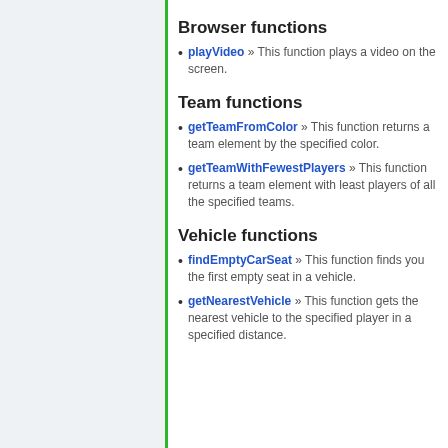Browser functions
playVideo » This function plays a video on the screen.
Team functions
getTeamFromColor » This function returns a team element by the specified color.
getTeamWithFewestPlayers » This function returns a team element with least players of all the specified teams.
Vehicle functions
findEmptyCarSeat » This function finds you the first empty seat in a vehicle.
getNearestVehicle » This function gets the nearest vehicle to the specified player in a specified distance.